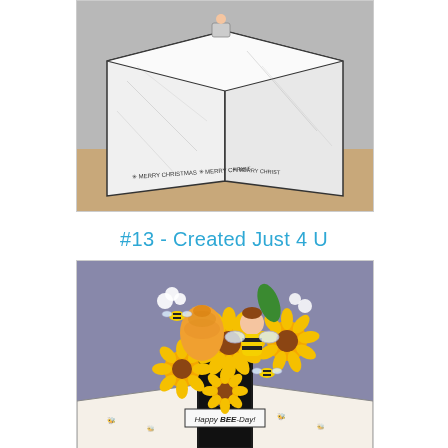[Figure (photo): A handmade pop-up card with a white and grey marbled design and 'Merry Christmas' text stamped along the base panels, photographed at an angle on a wooden surface.]
#13 - Created Just 4 U
[Figure (photo): A handmade pop-up box card with bee and sunflower theme. Features a fairy dressed as a bee, multiple sunflowers, a beehive, small bees, black and gold patterned paper, and a banner reading 'Happy BEE-Day!' on a grey-purple background.]